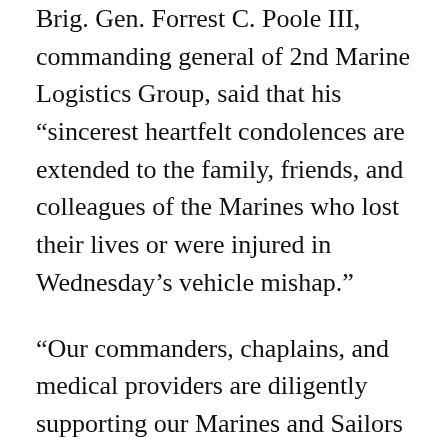Brig. Gen. Forrest C. Poole III, commanding general of 2nd Marine Logistics Group, said that his “sincerest heartfelt condolences are extended to the family, friends, and colleagues of the Marines who lost their lives or were injured in Wednesday’s vehicle mishap.”
“Our commanders, chaplains, and medical providers are diligently supporting our Marines and Sailors during this time. We deeply appreciate all of the thoughtful community messages we have received over the past several days.”
All questions pertaining to the ongoing traffic